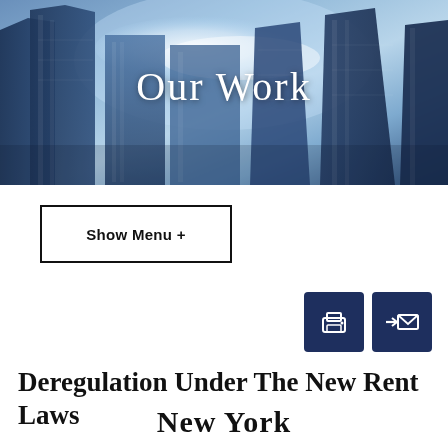[Figure (photo): Aerial view of city skyscrapers against a blue sky with the text 'Our Work' overlaid in white serif font]
Show Menu +
[Figure (other): Two dark navy icon buttons: a printer icon and an email/envelope icon]
Deregulation Under The New Rent Laws
[Figure (logo): New York Times logo in blackletter font, partially visible at bottom]